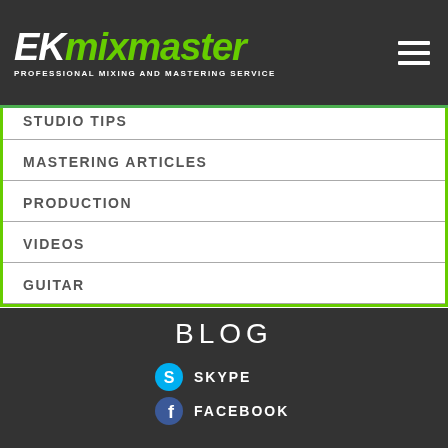EKmixmaster - PROFESSIONAL MIXING AND MASTERING SERVICE
STUDIO TIPS
MASTERING ARTICLES
PRODUCTION
VIDEOS
GUITAR
BLOG
SKYPE
FACEBOOK